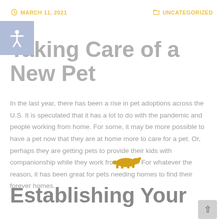MARCH 11, 2021   UNCATEGORIZED
Taking Care of a New Pet
In the last year, there has been a rise in pet adoptions across the U.S. It is speculated that it has a lot to do with the pandemic and people working from home. For some, it may be more possible to have a pet now that they are at home more to care for a pet. Or, perhaps they are getting pets to provide their kids with companionship while they work from home. For whatever the reason, it has been great for pets needing homes to find their forever homes.
Establishing Your